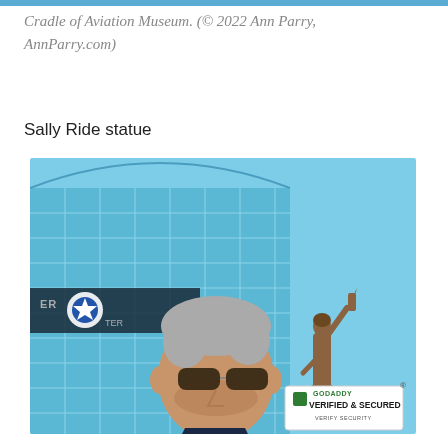Cradle of Aviation Museum. (© 2022 Ann Parry, AnnParry.com)
Sally Ride statue
[Figure (photo): Photo of a man with gray hair and sunglasses wearing a dark navy jacket, standing in front of the Cradle of Aviation Museum building with a glass grid facade. Behind him is a bronze statue of Sally Ride holding a Space Shuttle. A GoDaddy Verified & Secured badge appears in the lower right corner of the image.]